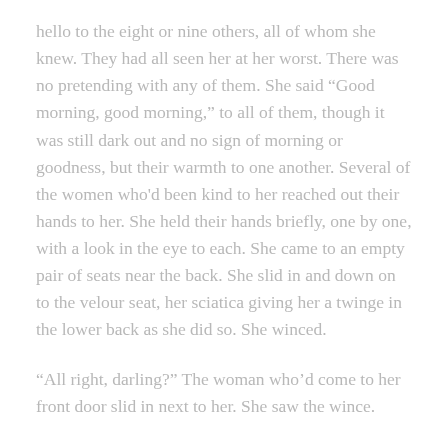hello to the eight or nine others, all of whom she knew. They had all seen her at her worst. There was no pretending with any of them. She said "Good morning, good morning," to all of them, though it was still dark out and no sign of morning or goodness, but their warmth to one another. Several of the women who'd been kind to her reached out their hands to her. She held their hands briefly, one by one, with a look in the eye to each. She came to an empty pair of seats near the back. She slid in and down on to the velour seat, her sciatica giving her a twinge in the lower back as she did so. She winced.
“All right, darling?” The woman who’d come to her front door slid in next to her. She saw the wince.
“I’m all right. Nothing but a few old lady aches and pains.”